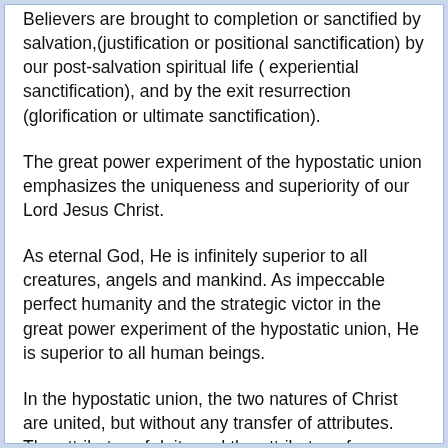Believers are brought to completion or sanctified by salvation,(justification or positional sanctification) by our post-salvation spiritual life ( experiential sanctification), and by the exit resurrection (glorification or ultimate sanctification).
The great power experiment of the hypostatic union emphasizes the uniqueness and superiority of our Lord Jesus Christ.
As eternal God, He is infinitely superior to all creatures, angels and mankind. As impeccable perfect humanity and the strategic victor in the great power experiment of the hypostatic union, He is superior to all human beings.
In the hypostatic union, the two natures of Christ are united, but without any transfer of attributes. The attributes of deity and the attributes of humanity in hypostatic union adhere to their corresponding